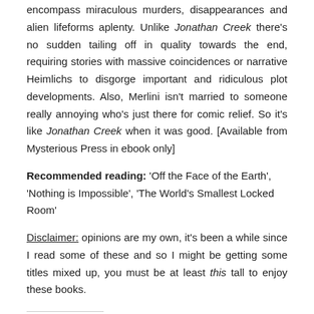encompass miraculous murders, disappearances and alien lifeforms aplenty. Unlike Jonathan Creek there's no sudden tailing off in quality towards the end, requiring stories with massive coincidences or narrative Heimlichs to disgorge important and ridiculous plot developments. Also, Merlini isn't married to someone really annoying who's just there for comic relief. So it's like Jonathan Creek when it was good. [Available from Mysterious Press in ebook only]
Recommended reading: 'Off the Face of the Earth', 'Nothing is Impossible', 'The World's Smallest Locked Room'
Disclaimer: opinions are my own, it's been a while since I read some of these and so I might be getting some titles mixed up, you must be at least this tall to enjoy these books.
Share this: